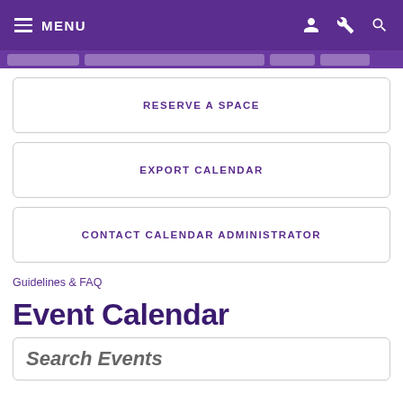MENU
RESERVE A SPACE
EXPORT CALENDAR
CONTACT CALENDAR ADMINISTRATOR
Guidelines & FAQ
Event Calendar
Search Events